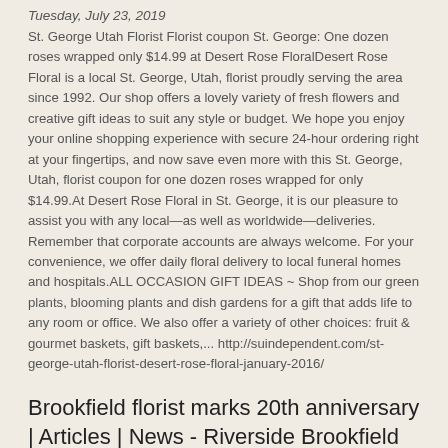Tuesday, July 23, 2019
St. George Utah Florist Florist coupon St. George: One dozen roses wrapped only $14.99 at Desert Rose FloralDesert Rose Floral is a local St. George, Utah, florist proudly serving the area since 1992. Our shop offers a lovely variety of fresh flowers and creative gift ideas to suit any style or budget. We hope you enjoy your online shopping experience with secure 24-hour ordering right at your fingertips, and now save even more with this St. George, Utah, florist coupon for one dozen roses wrapped for only $14.99.At Desert Rose Floral in St. George, it is our pleasure to assist you with any local—as well as worldwide—deliveries. Remember that corporate accounts are always welcome. For your convenience, we offer daily floral delivery to local funeral homes and hospitals.ALL OCCASION GIFT IDEAS ~ Shop from our green plants, blooming plants and dish gardens for a gift that adds life to any room or office. We also offer a variety of other choices: fruit & gourmet baskets, gift baskets,... http://suindependent.com/st-george-utah-florist-desert-rose-floral-january-2016/
Brookfield florist marks 20th anniversary | Articles | News - Riverside Brookfield Landmark